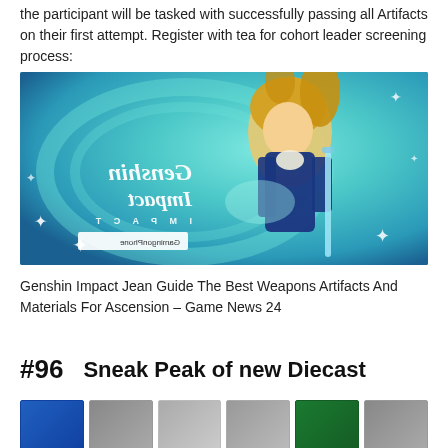the participant will be tasked with successfully passing all Artifacts on their first attempt. Register with tea for cohort leader screening process:
[Figure (photo): Genshin Impact promotional image showing Jean character with blonde hair in blue outfit, with mirrored Genshin Impact logo text and GamingonPhone watermark]
Genshin Impact Jean Guide The Best Weapons Artifacts And Materials For Ascension – Game News 24
#96    Sneak Peak of new Diecast
[Figure (photo): Row of diecast toy car product thumbnails]